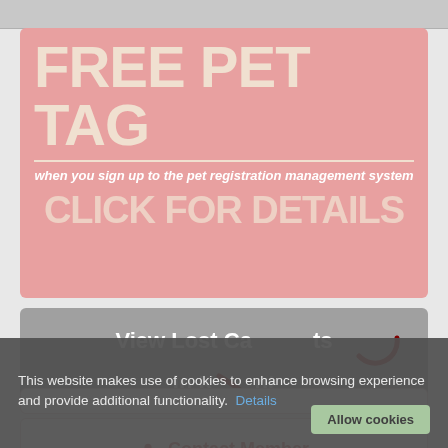[Figure (infographic): Pink promotional banner with text FREE PET TAG, subtitle 'when you sign up to the pet registration management system', and large text 'CLICK FOR DETAILS']
View Lost Cats in Kent
Contact Member
This website makes use of cookies to enhance browsing experience and provide additional functionality. Details
Allow cookies